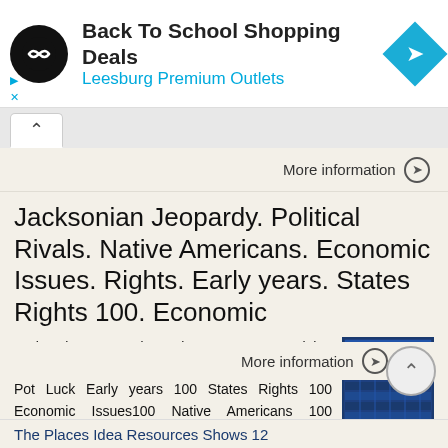[Figure (infographic): Advertisement banner: black circular logo with arrow icon, 'Back To School Shopping Deals' title, 'Leesburg Premium Outlets' subtitle in blue, blue diamond navigation icon on right]
More information →
Jacksonian Jeopardy. Political Rivals. Native Americans. Economic Issues. Rights. Early years. States Rights 100. Economic
Jacksonian Jeopardy Early years States Rights Economic Issues Native Americans Political Rivals Pot Luck Early years 100 States Rights 100 Economic Issues100 Native Americans 100 Political Rivals 100 Pot
[Figure (screenshot): Small thumbnail image of a blue table/jeopardy board]
More information →
The Places Idea Resources Shows 12